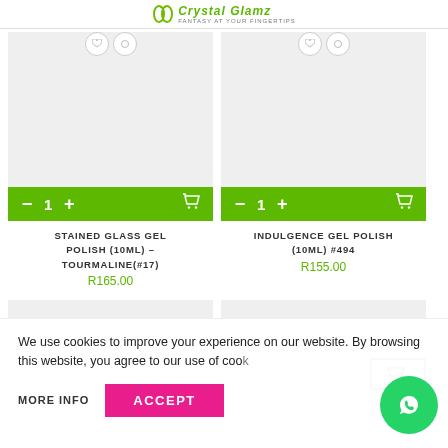[Figure (logo): Crystal Glamz logo with green circular icon, brand name in italic script, tagline FANTASY AT YOUR FINGERTIPS]
[Figure (other): Product image placeholder grey box for Stained Glass Gel Polish with wishlist icons]
[Figure (other): Add to cart green bar with minus, quantity 1, plus, and cart icon for left product]
STAINED GLASS GEL POLISH (10ML) - TOURMALINE(#17)
R165.00
[Figure (other): Product image placeholder grey box for Indulgence Gel Polish with wishlist icons]
[Figure (other): Add to cart green bar with minus, quantity 1, plus, and cart icon for right product]
INDULGENCE GEL POLISH (10ML) #494
R155.00
[Figure (other): Two partial product image placeholder grey boxes at bottom]
We use cookies to improve your experience on our website. By browsing this website, you agree to our use of cookies.
MORE INFO
ACCEPT
[Figure (other): WhatsApp green circular button with phone icon]